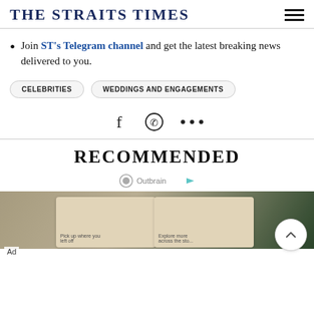THE STRAITS TIMES
Join ST's Telegram channel and get the latest breaking news delivered to you.
CELEBRITIES  WEDDINGS AND ENGAGEMENTS
[Figure (other): Social share icons: Facebook, WhatsApp, more (...)]
RECOMMENDED
[Figure (other): Outbrain recommended content logo and ad image showing tablet with reading app cards]
Ad